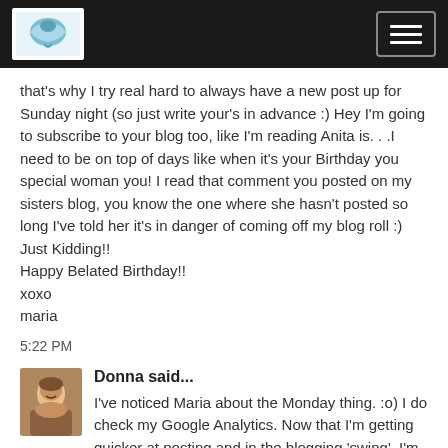[Blog logo and navigation hamburger menu]
that's why I try real hard to always have a new post up for Sunday night (so just write your's in advance :) Hey I'm going to subscribe to your blog too, like I'm reading Anita is. . .I need to be on top of days like when it's your Birthday you special woman you! I read that comment you posted on my sisters blog, you know the one where she hasn't posted so long I've told her it's in danger of coming off my blog roll :) Just Kidding!!
Happy Belated Birthday!!
xoxo
maria
5:22 PM
Donna said...
I've noticed Maria about the Monday thing. :o) I do check my Google Analytics. Now that I'm getting quicker at posting and in the blogging 'swing', I'm